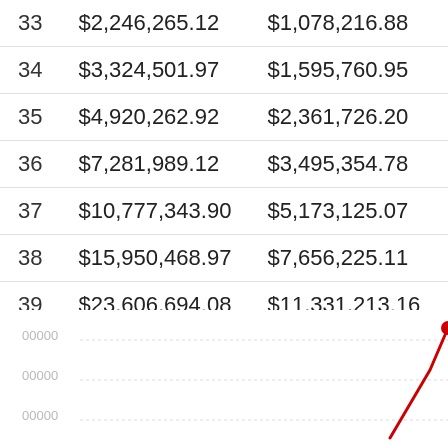| Period | Column2 | Column3 | Column4 |
| --- | --- | --- | --- |
| 33 | $2,246,265.12 | $1,078,216.88 | $5,3… |
| 34 | $3,324,501.97 | $1,595,760.95 | $4,9… |
| 35 | $4,920,262.92 | $2,361,726.20 | $7,2… |
| 36 | $7,281,989.12 | $3,495,354.78 | $10,… |
| 37 | $10,777,343.90 | $5,173,125.07 | $15,… |
| 38 | $15,950,468.97 | $7,656,225.11 | $23,… |
| 39 | $23,606,694.08 | $11,331,213.16 | $34,… |
We can also display this data on a chart to show you how the compounding increases with each compounding period.
[Figure (line-chart): Partial view of a line chart showing compounding growth over periods, with a red line rising steeply at the right edge. Y-axis shows values with labels partially visible (00000). Only the bottom portion of the chart is visible.]